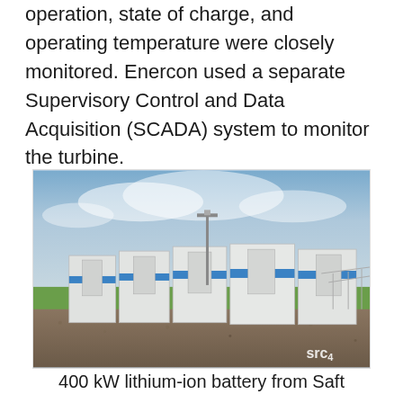operation, state of charge, and operating temperature were closely monitored. Enercon used a separate Supervisory Control and Data Acquisition (SCADA) system to monitor the turbine.
[Figure (photo): Outdoor photograph of a row of white shipping container-style battery storage units with blue accent stripes, positioned on gravel ground with green fields and a partly cloudy sky in the background. A chain-link fence is visible on the right. Watermark 'src4' appears in the lower right corner.]
400 kW lithium-ion battery from Saft